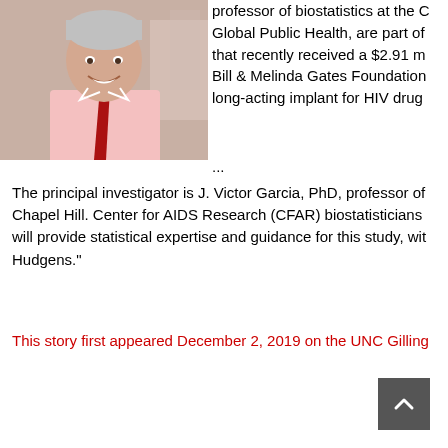[Figure (photo): Photo of a smiling middle-aged man with gray hair wearing a pink shirt and red tie, in a laboratory setting]
professor of biostatistics at the Global Public Health, are part of that recently received a $2.91 m Bill & Melinda Gates Foundation long-acting implant for HIV drug
...
The principal investigator is J. Victor Garcia, PhD, professor of Chapel Hill. Center for AIDS Research (CFAR) biostatisticians will provide statistical expertise and guidance for this study, wit Hudgens."
This story first appeared December 2, 2019 on the UNC Gilling